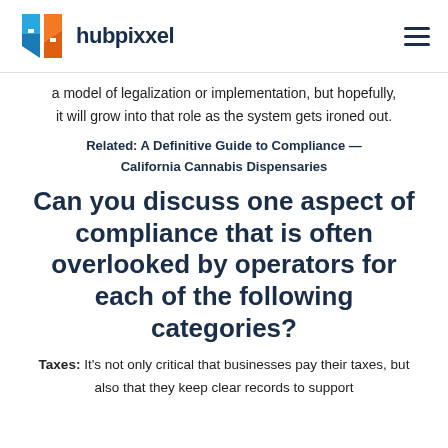hubpixxel
a model of legalization or implementation, but hopefully, it will grow into that role as the system gets ironed out.
Related: A Definitive Guide to Compliance — California Cannabis Dispensaries
Can you discuss one aspect of compliance that is often overlooked by operators for each of the following categories?
Taxes: It's not only critical that businesses pay their taxes, but also that they keep clear records to support